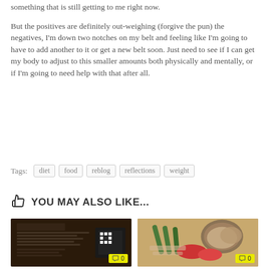something that is still getting to me right now.
But the positives are definitely out-weighing (forgive the pun) the negatives, I'm down two notches on my belt and feeling like I'm going to have to add another to it or get a new belt soon. Just need to see if I can get my body to adjust to this smaller amounts both physically and mentally, or if I'm going to need help with that after all.
Tags: diet food reblog reflections weight
YOU MAY ALSO LIKE...
[Figure (photo): A dark food packaging label with a QR code, showing nutritional information]
[Figure (photo): A bowl of dip with crackers, celery, and sliced red bell peppers]